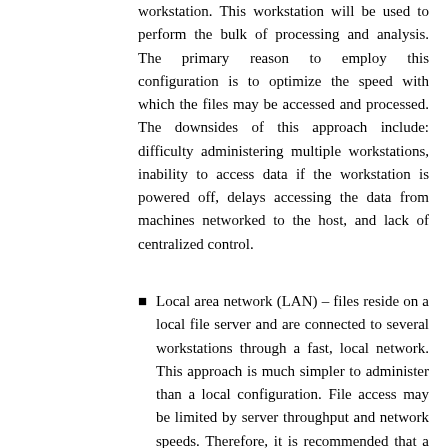workstation. This workstation will be used to perform the bulk of processing and analysis. The primary reason to employ this configuration is to optimize the speed with which the files may be accessed and processed. The downsides of this approach include: difficulty administering multiple workstations, inability to access data if the workstation is powered off, delays accessing the data from machines networked to the host, and lack of centralized control.
Local area network (LAN) – files reside on a local file server and are connected to several workstations through a fast, local network. This approach is much simpler to administer than a local configuration. File access may be limited by server throughput and network speeds. Therefore, it is recommended that a strong...